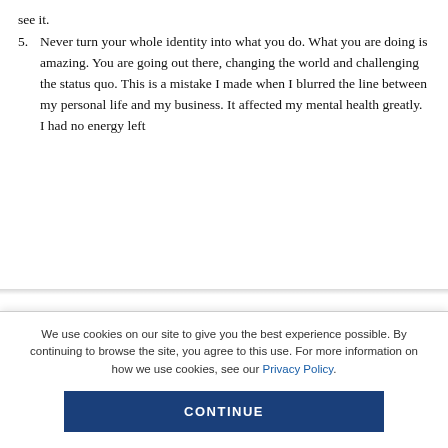see it.
5. Never turn your whole identity into what you do. What you are doing is amazing. You are going out there, changing the world and challenging the status quo. This is a mistake I made when I blurred the line between my personal life and my business. It affected my mental health greatly. I had no energy left
We use cookies on our site to give you the best experience possible. By continuing to browse the site, you agree to this use. For more information on how we use cookies, see our Privacy Policy.
CONTINUE